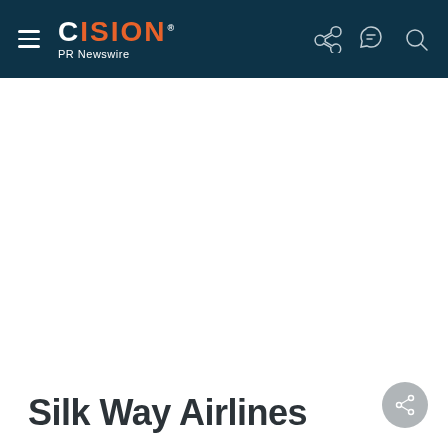CISION PR Newswire
Silk Way Airlines